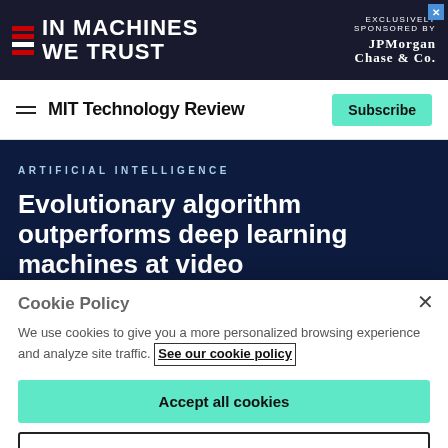[Figure (screenshot): Advertisement banner for 'In Machines We Trust' exclusively sponsored by JPMorgan Chase & Co.]
MIT Technology Review
ARTIFICIAL INTELLIGENCE
Evolutionary algorithm outperforms deep learning machines at video
Cookie Policy
We use cookies to give you a more personalized browsing experience and analyze site traffic. See our cookie policy
Accept all cookies
Cookies settings